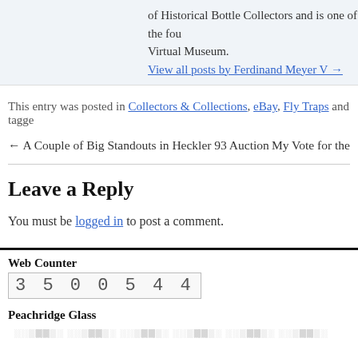of Historical Bottle Collectors and is one of the fou Virtual Museum.
View all posts by Ferdinand Meyer V →
This entry was posted in Collectors & Collections, eBay, Fly Traps and tagged
← A Couple of Big Standouts in Heckler 93 Auction   My Vote for the
Leave a Reply
You must be logged in to post a comment.
Web Counter
3500544
Peachridge Glass